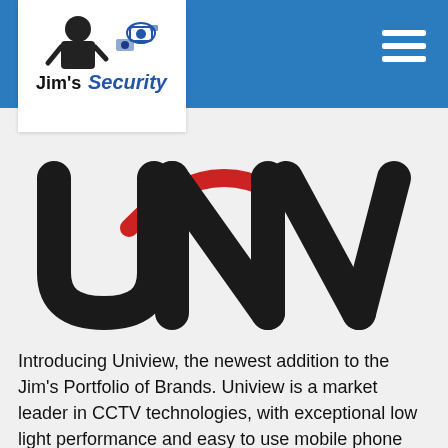[Figure (logo): Jim's Security logo with cartoon man and camera icons, blue and black text]
[Figure (logo): UNV (Uniview) logo: large dark letters 'unv' with a red arc above them on a light grey background]
Introducing Uniview, the newest addition to the Jim's Portfolio of Brands. Uniview is a market leader in CCTV technologies, with exceptional low light performance and easy to use mobile phone applications and software.